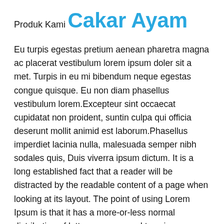Produk Kami
Cakar Ayam
Eu turpis egestas pretium aenean pharetra magna ac placerat vestibulum lorem ipsum doler sit a met. Turpis in eu mi bibendum neque egestas congue quisque. Eu non diam phasellus vestibulum lorem.Excepteur sint occaecat cupidatat non proident, suntin culpa qui officia deserunt mollit animid est laborum.Phasellus imperdiet lacinia nulla, malesuada semper nibh sodales quis, Duis viverra ipsum dictum. It is a long established fact that a reader will be distracted by the readable content of a page when looking at its layout. The point of using Lorem Ipsum is that it has a more-or-less normal distribution of letters, as opposed to using 'Content here, content